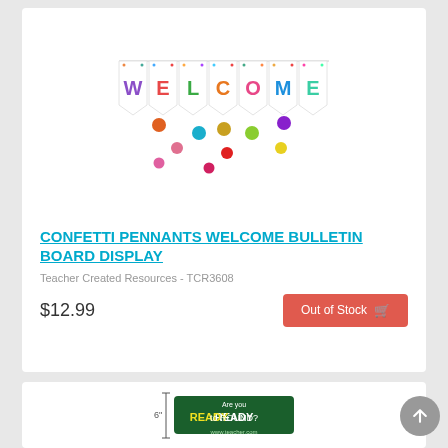[Figure (illustration): Colorful confetti pennants welcome banner with letters W-E-L-C-O-M-E on triangular flags with colorful polka dots hanging below]
CONFETTI PENNANTS WELCOME BULLETIN BOARD DISPLAY
Teacher Created Resources - TCR3608
$12.99
Out of Stock
[Figure (photo): Are you READY to ROUND? banner product with dimension markings showing 6 inch height measurement]